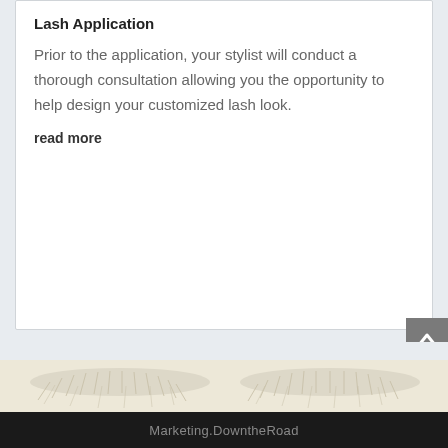Lash Application
Prior to the application, your stylist will conduct a thorough consultation allowing you the opportunity to help design your customized lash look.
read more
[Figure (photo): Close-up photo of closed eyes with lashes against a cream/beige background]
Marketing.DowntheRoad